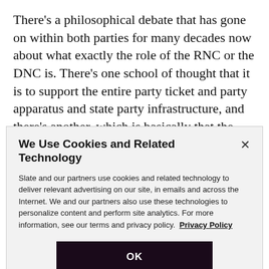There's a philosophical debate that has gone on within both parties for many decades now about what exactly the role of the RNC or the DNC is. There's one school of thought that it is to support the entire party ticket and party apparatus and state party infrastructure, and there's another, which is basically that the core function of the DNC and RNC is to build a vehicle that the nominee can drive, whoever he or she is, at whatever
We Use Cookies and Related Technology
Slate and our partners use cookies and related technology to deliver relevant advertising on our site, in emails and across the Internet. We and our partners also use these technologies to personalize content and perform site analytics. For more information, see our terms and privacy policy.  Privacy Policy